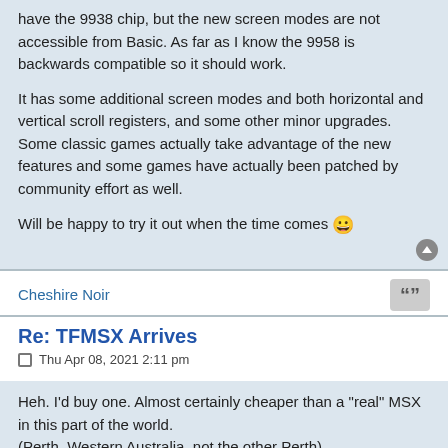have the 9938 chip, but the new screen modes are not accessible from Basic. As far as I know the 9958 is backwards compatible so it should work.
It has some additional screen modes and both horizontal and vertical scroll registers, and some other minor upgrades. Some classic games actually take advantage of the new features and some games have actually been patched by community effort as well.
Will be happy to try it out when the time comes 😀
Cheshire Noir
Re: TFMSX Arrives
Thu Apr 08, 2021 2:11 pm
Heh. I'd buy one. Almost certainly cheaper than a "real" MSX in this part of the world.
(Perth, Western Australia, not the other Perth)
Chesh
terriblefire
Moderator Team